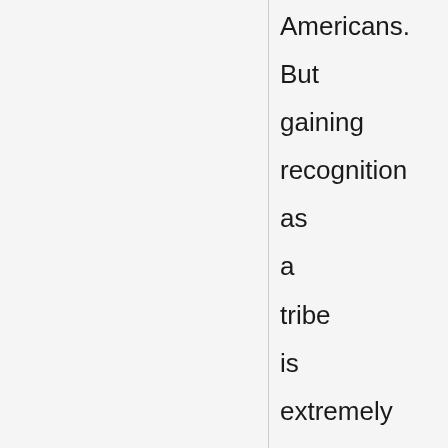Americans. But gaining recognition as a tribe is extremely difficult because of a Catch-22 in